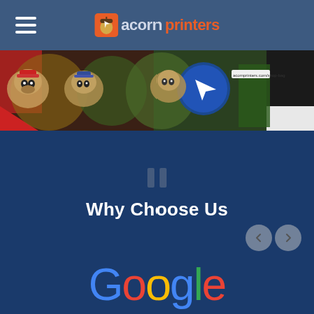acornprinters
[Figure (photo): Banner image showing cartoon pug characters and mascots on colorful background with an Acorn Printers logo]
Why Choose Us
[Figure (logo): Google logo in multicolor (blue, red, yellow, green)]